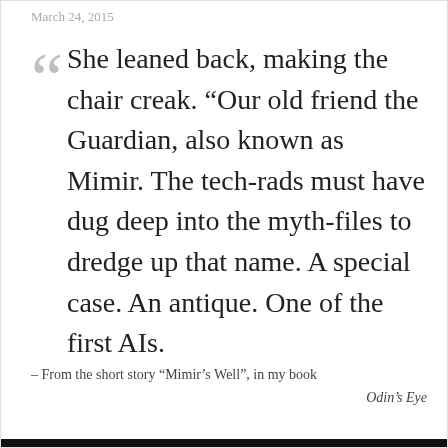March 24, 2015
She leaned back, making the chair creak. “Our old friend the Guardian, also known as Mimir. The tech-rads must have dug deep into the myth-files to dredge up that name. A special case. An antique. One of the first AIs.
– From the short story “Mimir’s Well”, in my book Odin’s Eye